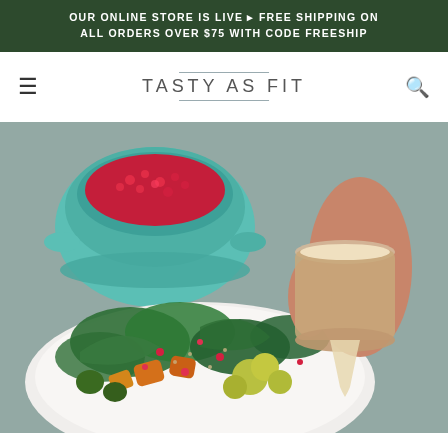OUR ONLINE STORE IS LIVE ▸ FREE SHIPPING ON ALL ORDERS OVER $75 WITH CODE FREESHIP
TASTY AS FIT
[Figure (photo): A hand pouring creamy dressing from a small cup onto a colorful kale salad with roasted vegetables, pomegranate seeds, cauliflower, and nuts. A teal colander with pomegranate seeds is visible in the background.]